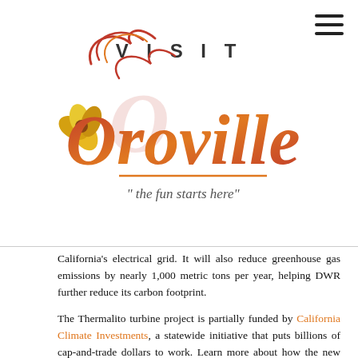[Figure (logo): Visit Oroville logo with decorative orange and red script lettering, golden flower/poppy, and tagline 'the fun starts here']
California's electrical grid. It will also reduce greenhouse gas emissions by nearly 1,000 metric tons per year, helping DWR further reduce its carbon footprint.
The Thermalito turbine project is partially funded by California Climate Investments, a statewide initiative that puts billions of cap-and-trade dollars to work. Learn more about how the new turbine at the Thermalito Powerplant is helping California meet its clean energy goals by watching our new video and reading the latest DWR Update. For more information